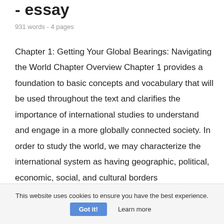- essay
931 words - 4 pages
Chapter 1: Getting Your Global Bearings: Navigating the World Chapter Overview Chapter 1 provides a foundation to basic concepts and vocabulary that will be used throughout the text and clarifies the importance of international studies to understand and engage in a more globally connected society. In order to study the world, we may characterize the international system as having geographic, political, economic, social, and cultural borders
This website uses cookies to ensure you have the best experience.